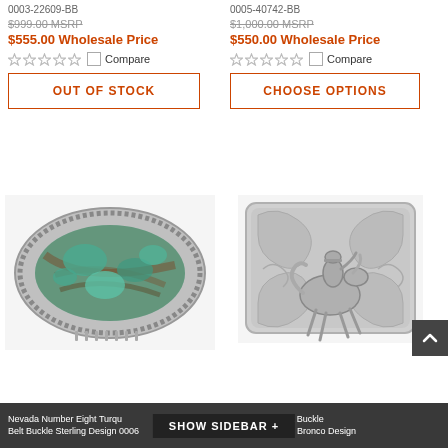0003-22609-BB
$999.00 MSRP
$555.00 Wholesale Price
Compare
OUT OF STOCK
0005-40742-BB
$1,000.00 MSRP
$550.00 Wholesale Price
Compare
CHOOSE OPTIONS
[Figure (photo): Nevada Number Eight Turquoise belt buckle with sterling silver rope border design, showing greenish-blue turquoise stone with brown matrix]
[Figure (photo): Silver Western Belt Buckle Sterling Wyoming Bronco Design with engraved cowboy on bucking horse surrounded by decorative scrollwork]
Nevada Number Eight Turquoise Belt Buckle Sterling Design 0006
Silver Western Belt Buckle Sterling Wyoming Bronco Design
SHOW SIDEBAR +